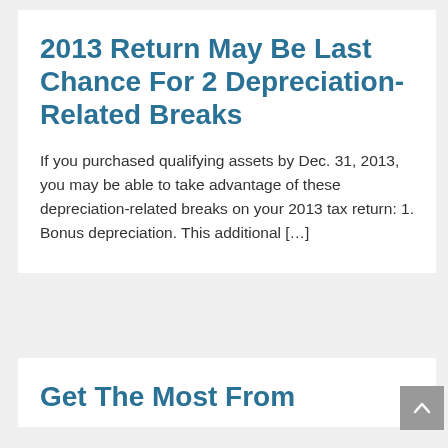2013 Return May Be Last Chance For 2 Depreciation-Related Breaks
If you purchased qualifying assets by Dec. 31, 2013, you may be able to take advantage of these depreciation-related breaks on your 2013 tax return: 1. Bonus depreciation. This additional […]
Get The Most From